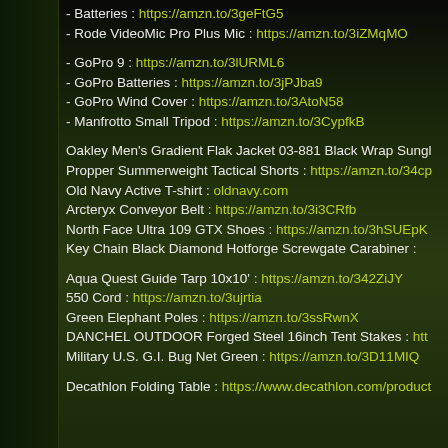- Batteries : https://amzn.to/3geFtG5
- Rode VideoMic Pro Plus Mic : https://amzn.to/3iZMqMO
- GoPro 9 : https://amzn.to/3lURML6
- GoPro Batteries : https://amzn.to/3jPJba9
- GoPro Wind Cover : https://amzn.to/3AtoN58
- Manfrotto Small Tripod : https://amzn.to/3CypfkB
Oakley Men's Gradient Flak Jacket 03-881 Black Wrap Sungl...
Propper Summerweight Tactical Shorts : https://amzn.to/34cp...
Old Navy Active T-shirt : oldnavy.com
Arcteryx Conveyor Belt : https://amzn.to/3i3CRfb
North Face Ultra 109 GTX Shoes : https://amzn.to/3hSUEpK
Key Chain Black Diamond Hotforge Screwgate Carabiner :
Aqua Quest Guide Tarp 10x10' : https://amzn.to/342ZiJY
550 Cord : https://amzn.to/3ujrtia
Green Elephant Poles : https://amzn.to/3ssRwnX
DANCHEL OUTDOOR Forged Steel 16inch Tent Stakes : http...
Military U.S. G.I. Bug Net Green : https://amzn.to/3D11MIQ
Decathlon Folding Table : https://www.decathlon.com/product...